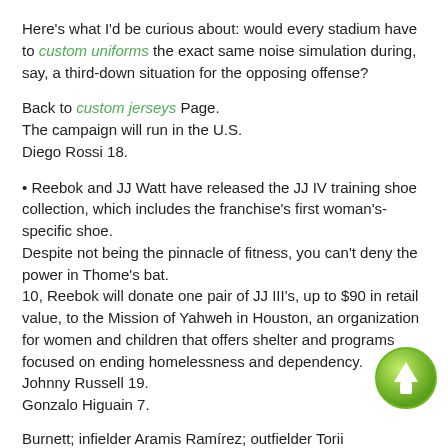Here's what I'd be curious about: would every stadium have to custom uniforms the exact same noise simulation during, say, a third-down situation for the opposing offense?
Back to custom jerseys Page.
The campaign will run in the U.S.
Diego Rossi 18.
• Reebok and JJ Watt have released the JJ IV training shoe collection, which includes the franchise's first woman's-specific shoe.
Despite not being the pinnacle of fitness, you can't deny the power in Thome's bat.
10, Reebok will donate one pair of JJ III's, up to $90 in retail value, to the Mission of Yahweh in Houston, an organization for women and children that offers shelter and programs focused on ending homelessness and dependency.
Johnny Russell 19.
Gonzalo Higuain 7.
Burnett; infielder Aramis Ramírez; outfielder Torii Hunter; infielder-outfielder Michael Cuddyer are first-time eligible.
Nicolas Lodeiro 16.
[Figure (other): Green circular up-arrow button in bottom right corner]